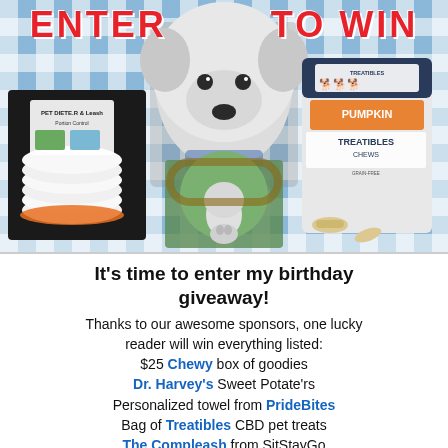[Figure (photo): Giveaway banner with 'ENTER TO WIN' text in red, featuring a white fluffy dog (West Highland Terrier), a pet dieter/feeder product on the left, a dog treat bag (Pumpkin Treatibles) on the right, and a smaller photo of the dog outdoors in the center-bottom.]
It's time to enter my birthday giveaway!
Thanks to our awesome sponsors, one lucky reader will win everything listed: $25 Chewy box of goodies Dr. Harvey's Sweet Potate'rs Personalized towel from PrideBites Bag of Treatibles CBD pet treats The Compleash from SitStayGo